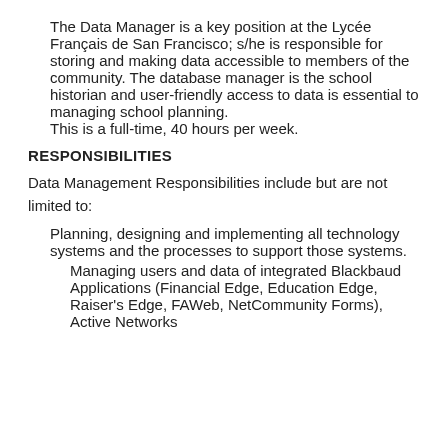The Data Manager is a key position at the Lycée Français de San Francisco; s/he is responsible for storing and making data accessible to members of the community. The database manager is the school historian and user-friendly access to data is essential to managing school planning.
This is a full-time, 40 hours per week.
RESPONSIBILITIES
Data Management Responsibilities include but are not limited to:
Planning, designing and implementing all technology systems and the processes to support those systems.
Managing users and data of integrated Blackbaud Applications (Financial Edge, Education Edge, Raiser's Edge, FAWeb, NetCommunity Forms), Active Networks